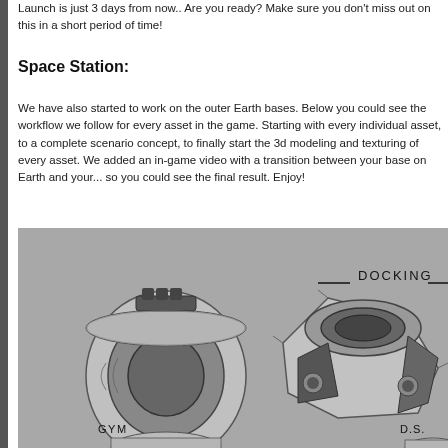Launch is just 3 days from now.. Are you ready? Make sure you don't miss out on this in a short period of time!
Space Station:
We have also started to work on the outer Earth bases. Below you could see the workflow we follow for every asset in the game. Starting with every individual asset, to a complete scenario concept, to finally start the 3d modeling and texturing of every asset. We added an in-game video with a transition between your base on Earth and your... so you could see the final result. Enjoy!
[Figure (illustration): Concept art sketches of space station modules on a grey background. Upper portion shows two circular/cylindrical docking modules with detailed mechanical design, labeled 'DOCKING'. Lower portion shows additional modules labeled 'GYM' and 'D.S.' partially visible at the bottom of the image.]